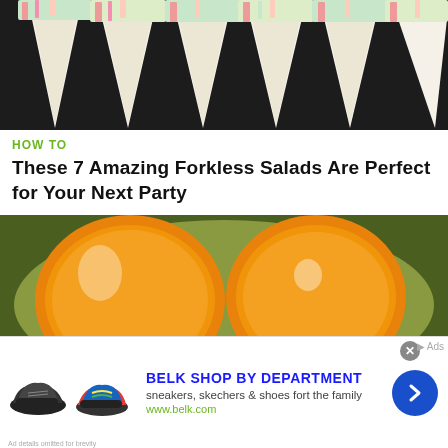[Figure (photo): Food photo showing white cone-shaped holders filled with salad ingredients including red and green vegetables, arranged on a dark background]
HOW TO
These 7 Amazing Forkless Salads Are Perfect for Your Next Party
[Figure (photo): Close-up photo of two large bright orange/yellow egg yolks in a bowl with egg whites visible around them]
HOW TO
[Figure (other): Advertisement for Belk Shop By Department featuring shoe images, text sneakers, skechers & shoes fort the family, www.belk.com, and a blue arrow button]